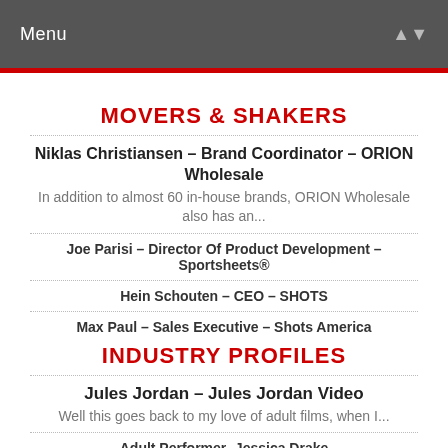Menu
MOVERS & SHAKERS
Niklas Christiansen – Brand Coordinator – ORION Wholesale
In addition to almost 60 in-house brands, ORION Wholesale also has an...
Joe Parisi – Director Of Product Development – Sportsheets®
Hein Schouten – CEO – SHOTS
Max Paul – Sales Executive – Shots America
INDUSTRY PROFILES
Jules Jordan – Jules Jordan Video
Well this goes back to my love of adult films, when I...
Adult Performer- Jessica Drake
Ellen Friedman – Sales Director – Swiss Navy